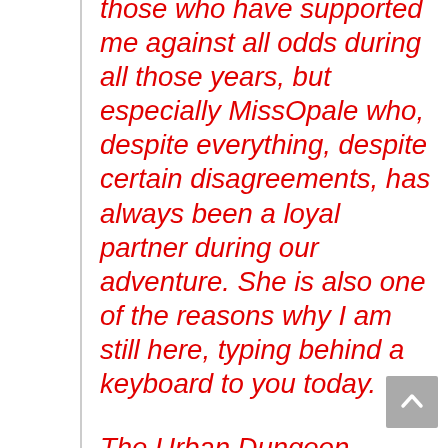those who have supported me against all odds during all those years, but especially MissOpale who, despite everything, despite certain disagreements, has always been a loyal partner during our adventure. She is also one of the reasons why I am still here, typing behind a keyboard to you today.
The Urban Dungeon was a dream, built with love, passion and in the image of the people that would spend time in it.